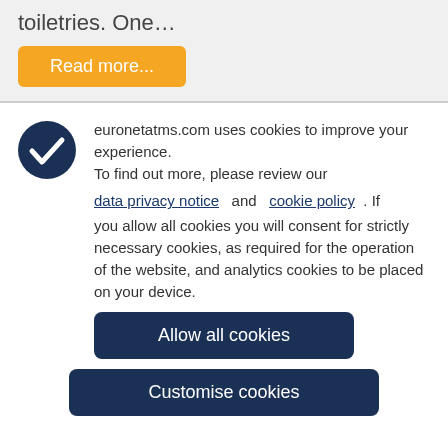toiletries. One…
Read more...
euronetatms.com uses cookies to improve your experience. To find out more, please review our data privacy notice and cookie policy . If you allow all cookies you will consent for strictly necessary cookies, as required for the operation of the website, and analytics cookies to be placed on your device.
Allow all cookies
Customise cookies